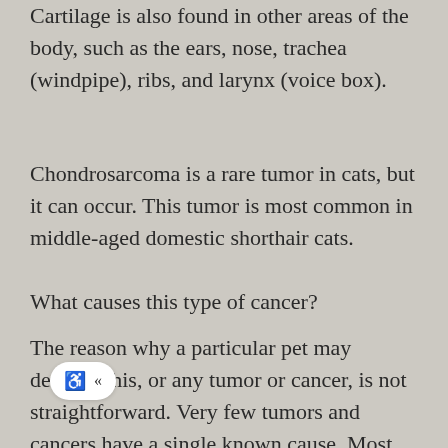Cartilage is also found in other areas of the body, such as the ears, nose, trachea (windpipe), ribs, and larynx (voice box).
Chondrosarcoma is a rare tumor in cats, but it can occur. This tumor is most common in middle-aged domestic shorthair cats.
What causes this type of cancer?
The reason why a particular pet may develop this, or any tumor or cancer, is not straightforward. Very few tumors and cancers have a single known cause. Most seem to be caused by a complex mix of risk factors, some environmental and some